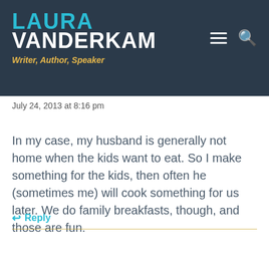LAURA VANDERKAM — Writer, Author, Speaker
July 24, 2013 at 8:16 pm
In my case, my husband is generally not home when the kids want to eat. So I make something for the kids, then often he (sometimes me) will cook something for us later. We do family breakfasts, though, and those are fun.
↩ Reply